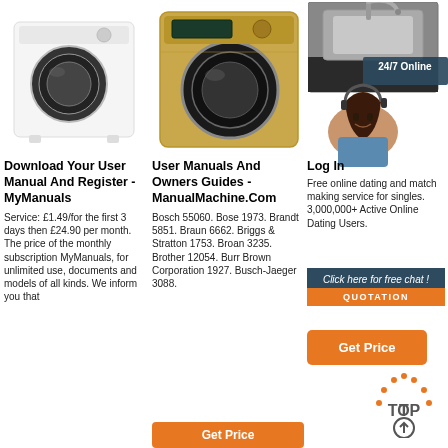[Figure (photo): White front-loading washing machine]
[Figure (photo): Gold/champagne front-loading washing machine]
[Figure (photo): Stainless steel utility sink with faucet on dark cabinet, with 24/7 Online customer service representative overlay]
Download Your User Manual And Register - MyManuals
Service: £1.49/for the first 3 days then £24.90 per month. The price of the monthly subscription MyManuals, for unlimited use, documents and models of all kinds. We inform you that
User Manuals And Owners Guides - ManualMachine.Com
Bosch 55060. Bose 1973. Brandt 5851. Braun 6662. Briggs & Stratton 1753. Broan 3235. Brother 12054. Burr Brown Corporation 1927. Busch-Jaeger 3088.
Log In
Free online dating and match making service for singles. 3,000,000+ Active Online Dating Users.
[Figure (infographic): Chat banner with '24/7 Online', 'Click here for free chat!' and QUOTATION button in orange, with customer service representative photo]
Get Price
Get Price
[Figure (illustration): TOP arrow icon with orange dotted arc]